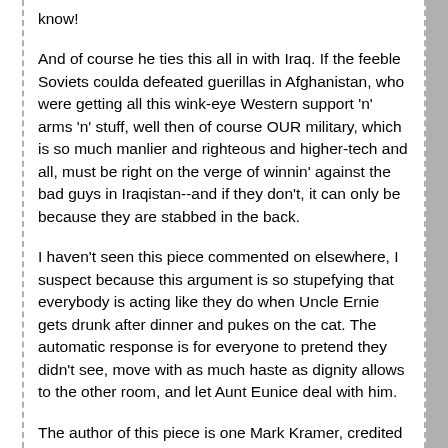know!
And of course he ties this all in with Iraq. If the feeble Soviets coulda defeated guerillas in Afghanistan, who were getting all this wink-eye Western support 'n' arms 'n' stuff, well then of course OUR military, which is so much manlier and righteous and higher-tech and all, must be right on the verge of winnin' against the bad guys in Iraqistan--and if they don't, it can only be because they are stabbed in the back.
I haven't seen this piece commented on elsewhere, I suspect because this argument is so stupefying that everybody is acting like they do when Uncle Ernie gets drunk after dinner and pukes on the cat. The automatic response is for everyone to pretend they didn't see, move with as much haste as dignity allows to the other room, and let Aunt Eunice deal with him.
The author of this piece is one Mark Kramer, credited as "director of the Harvard Cold War studies program and a senior fellow at the university's Davis Center for Russian and Eurasian